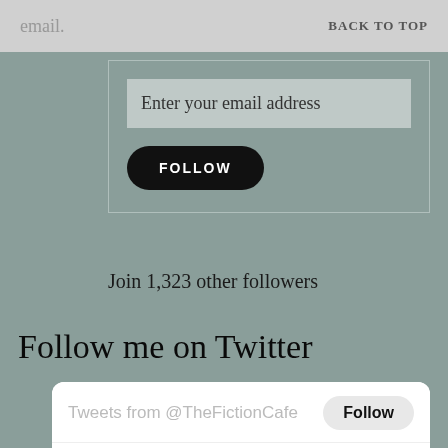email.    BACK TO TOP
Enter your email address
FOLLOW
Join 1,323 other followers
Follow me on Twitter
[Figure (screenshot): Twitter widget showing tweets from @TheFictionCafe with a Follow button, and a tweet by Madison Ward - @TheFic... on Jul 19 with text #CadburyMysteryBars, with reply and like icons below.]